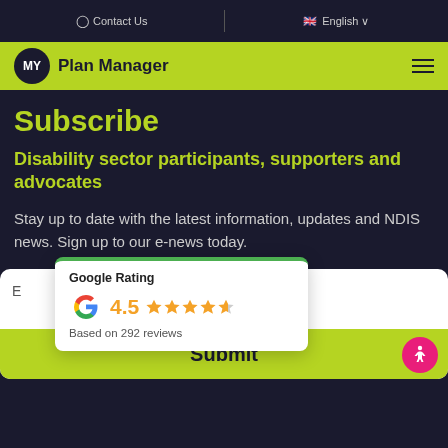Contact Us | English
[Figure (logo): MY Plan Manager logo with circular dark badge and lime green nav bar with hamburger menu]
Subscribe
Disability sector participants, supporters and advocates
Stay up to date with the latest information, updates and NDIS news. Sign up to our e-news today.
[Figure (infographic): Google Rating popup showing 4.5 stars based on 292 reviews with Google G logo]
E...
Submit